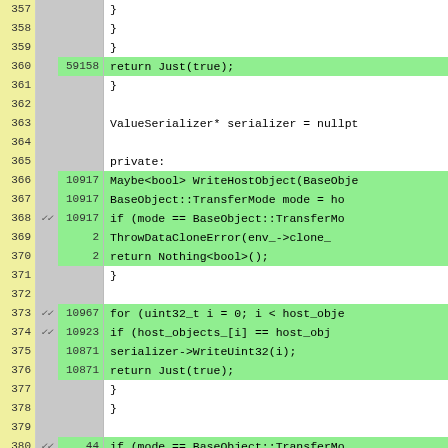[Figure (screenshot): Code coverage viewer showing C++ source lines 357-382 with line numbers (yellow column), checkmark column (gray), execution count column (gray/green), and code content column. Lines with coverage counts are highlighted green. The code shows a ValueSerializer class with WriteHostObject method implementation including conditional branches and for loops.]